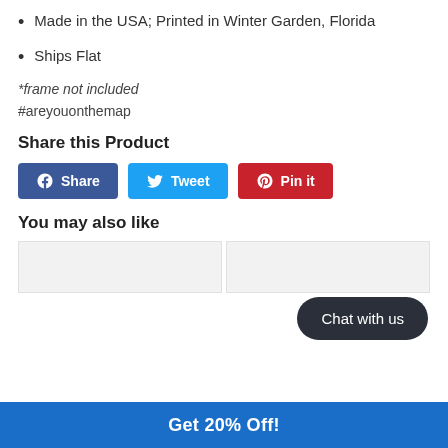Made in the USA; Printed in Winter Garden, Florida
Ships Flat
*frame not included
#areyouonthemap
Share this Product
[Figure (other): Social share buttons: Facebook Share, Twitter Tweet, Pinterest Pin it]
You may also like